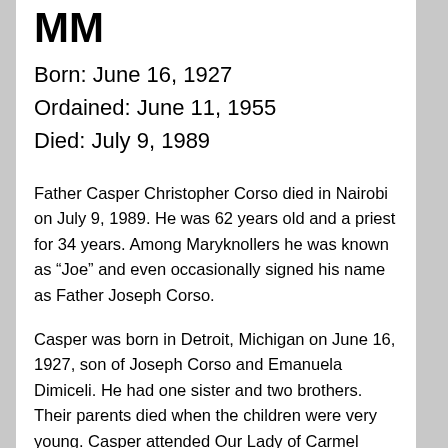MM
Born: June 16, 1927
Ordained: June 11, 1955
Died: July 9, 1989
Father Casper Christopher Corso died in Nairobi on July 9, 1989. He was 62 years old and a priest for 34 years. Among Maryknollers he was known as “Joe” and even occasionally signed his name as Father Joseph Corso.
Casper was born in Detroit, Michigan on June 16, 1927, son of Joseph Corso and Emanuela Dimiceli. He had one sister and two brothers. Their parents died when the children were very young. Casper attended Our Lady of Carmel grade school and